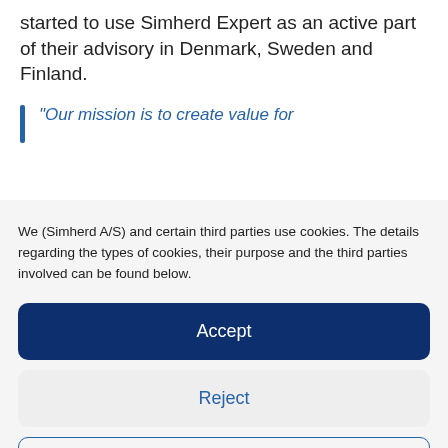started to use Simherd Expert as an active part of their advisory in Denmark, Sweden and Finland.
"Our mission is to create value for
We (Simherd A/S) and certain third parties use cookies. The details regarding the types of cookies, their purpose and the third parties involved can be found below.
Accept
Reject
Preferences
Privacy policy